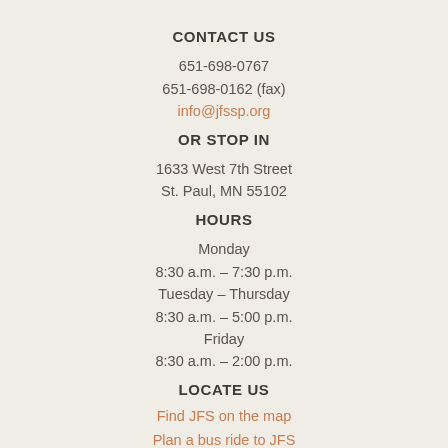CONTACT US
651-698-0767
651-698-0162 (fax)
info@jfssp.org
OR STOP IN
1633 West 7th Street
St. Paul, MN 55102
HOURS
Monday
8:30 a.m. – 7:30 p.m.
Tuesday – Thursday
8:30 a.m. – 5:00 p.m.
Friday
8:30 a.m. – 2:00 p.m.
LOCATE US
Find JFS on the map
Plan a bus ride to JFS